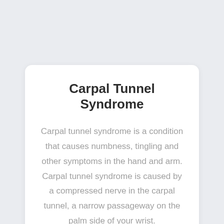Carpal Tunnel Syndrome
Carpal tunnel syndrome is a condition that causes numbness, tingling and other symptoms in the hand and arm. Carpal tunnel syndrome is caused by a compressed nerve in the carpal tunnel, a narrow passageway on the palm side of your wrist.